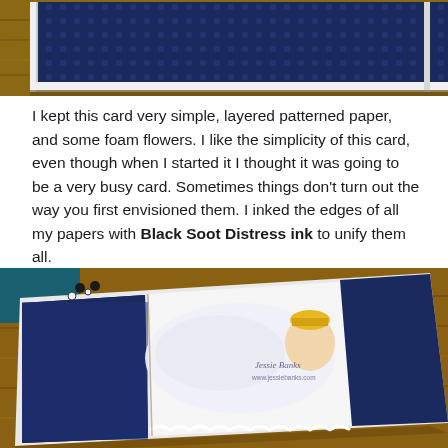[Figure (photo): Top portion of a greeting card standing upright on a wooden surface, showing navy blue patterned paper with white geometric dots, white card border visible]
I kept this card very simple, layered patterned paper, and some foam flowers. I like the simplicity of this card, even though when I started it I thought it was going to be a very busy card. Sometimes things don't turn out the way you first envisioned them. I inked the edges of all my papers with Black Soot Distress ink to unify them all.
[Figure (photo): A handmade greeting card laid on a wooden table at an angle, featuring a stamped girl character with yellow hat, navy blue patterned paper sections, white scalloped border, decorative scrollwork, and a Jessie Banks watermark/logo. Small black and white embellishments visible in upper left corner.]